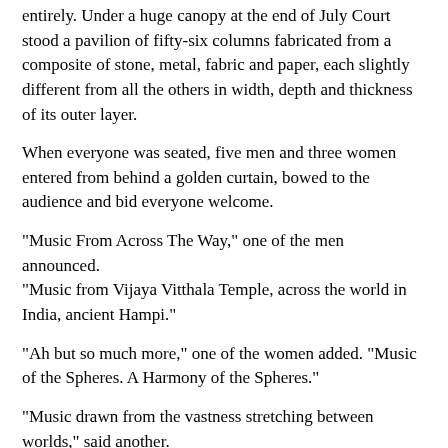entirely.  Under a huge canopy at the end of July Court stood a pavilion of fifty-six columns fabricated from a composite of stone, metal, fabric and paper, each slightly different from all the others in width, depth and thickness of its outer layer.
When everyone was seated, five men and three women entered from behind a golden curtain, bowed to the audience and bid everyone welcome.
"Music From Across The Way," one of the men announced. "Music from Vijaya Vitthala Temple, across the world in India, ancient Hampi."
"Ah but so much more," one of the women added.  "Music of the Spheres.  A Harmony of the Spheres."
"Music drawn from the vastness stretching between worlds," said another.
"From the darkest matter," said a fourth.
"From the place we know nothing is," said a fifth.
"Yet everything is," said a sixth.
"For everything goes there in the end," the seventh said.